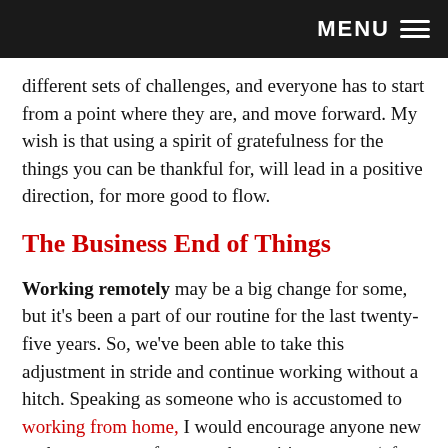MENU ≡
different sets of challenges, and everyone has to start from a point where they are, and move forward. My wish is that using a spirit of gratefulness for the things you can be thankful for, will lead in a positive direction, for more good to flow.
The Business End of Things
Working remotely may be a big change for some, but it's been a part of our routine for the last twenty-five years. So, we've been able to take this adjustment in stride and continue working without a hitch. Speaking as someone who is accustomed to working from home, I would encourage anyone new to the concept to focus on the positive aspects (of which there are many). Think of the commuting time you're saving, lower fuel costs and reduced carbon footprint, lower overhead, and the ability…